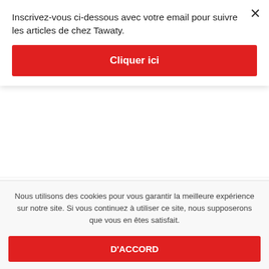Inscrivez-vous ci-dessous avec votre email pour suivre les articles de chez Tawaty.
Cliquer ici
Chatib din Hige
chatiw hookup website
Chatiw meetic site
chatiw native american dating
Chatiw review
Nous utilisons des cookies pour vous garantir la meilleure expérience sur notre site. Si vous continuez à utiliser ce site, nous supposerons que vous en êtes satisfait.
D'ACCORD